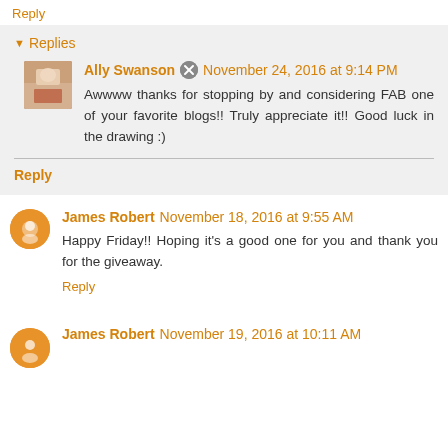Reply
Replies
Ally Swanson November 24, 2016 at 9:14 PM
Awwww thanks for stopping by and considering FAB one of your favorite blogs!! Truly appreciate it!! Good luck in the drawing :)
Reply
James Robert November 18, 2016 at 9:55 AM
Happy Friday!! Hoping it's a good one for you and thank you for the giveaway.
Reply
James Robert November 19, 2016 at 10:11 AM